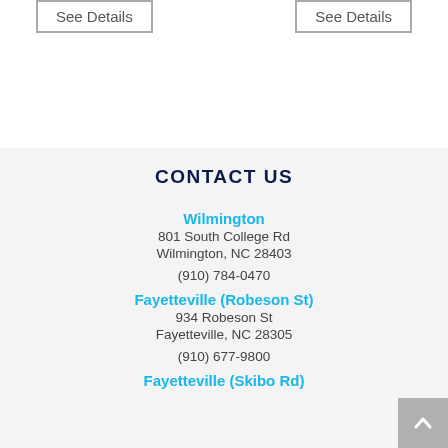See Details
See Details
CONTACT US
Wilmington
801 South College Rd
Wilmington, NC 28403
(910) 784-0470
Fayetteville (Robeson St)
934 Robeson St
Fayetteville, NC 28305
(910) 677-9800
Fayetteville (Skibo Rd)